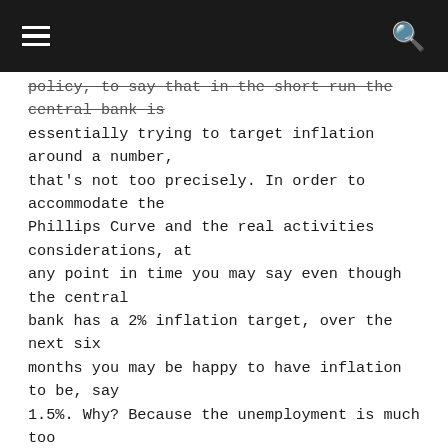≡  [menu]   [search icon]
policy, to say that in the short run the central bank is essentially trying to target inflation around a number, that's not too precisely. In order to accommodate the Phillips Curve and the real activities considerations, at any point in time you may say even though the central bank has a 2% inflation target, over the next six months you may be happy to have inflation to be, say 1.5%. Why? Because the unemployment is much too high compared to some natural rate, or so on.
Thinking in this way is sometimes referred to as the inflation targeting view of the world. That is, you always describe monetary policy in terms the inflation target. It does not in any way preclude you from thinking about the real activities. It simply said you understand that ultimately the central bank control